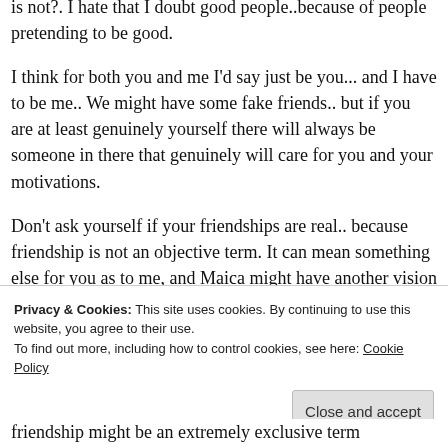is not?. I hate that I doubt good people..because of people pretending to be good.
I think for both you and me I'd say just be you... and I have to be me.. We might have some fake friends.. but if you are at least genuinely yourself there will always be someone in there that genuinely will care for you and your motivations.
Don't ask yourself if your friendships are real.. because friendship is not an objective term. It can mean something else for you as to me, and Maica might have another vision about it Ask yourself
Privacy & Cookies: This site uses cookies. By continuing to use this website, you agree to their use.
To find out more, including how to control cookies, see here: Cookie Policy
friendship might be an extremely exclusive term